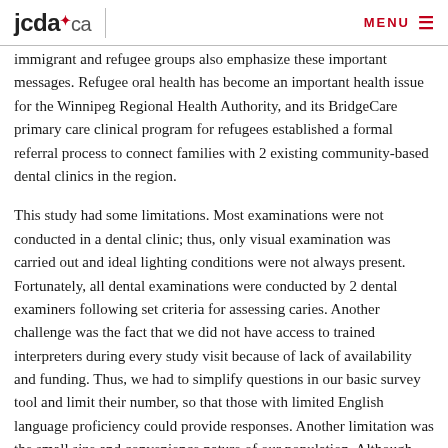jcda.ca  MENU
immigrant and refugee groups also emphasize these important messages. Refugee oral health has become an important health issue for the Winnipeg Regional Health Authority, and its BridgeCare primary care clinical program for refugees established a formal referral process to connect families with 2 existing community-based dental clinics in the region.
This study had some limitations. Most examinations were not conducted in a dental clinic; thus, only visual examination was carried out and ideal lighting conditions were not always present. Fortunately, all dental examinations were conducted by 2 dental examiners following set criteria for assessing caries. Another challenge was the fact that we did not have access to trained interpreters during every study visit because of lack of availability and funding. Thus, we had to simplify questions in our basic survey tool and limit their number, so that those with limited English language proficiency could provide responses. Another limitation was the small size and convenience nature of our population. Although this may pose statistical challenges and hinder the generalizability of our